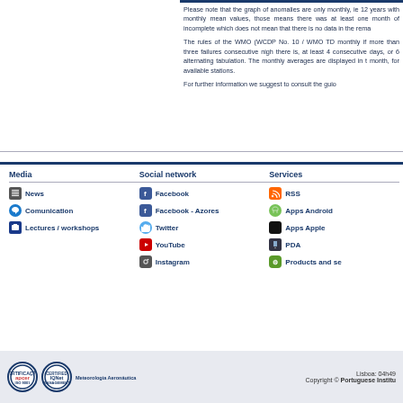Please note that the graph of anomalies are only monthly, ie 12 years with monthly mean values, those means there was at least one month of incomplete which does not mean that there is no data in the rema
The rules of the WMO (WCDP No. 10 / WMO TD monthly if more than three failures consecutive nigh there is, at least 4 consecutive days, or 6 alternating tabulation. The monthly averages are displayed in t month, for available stations.
For further information we suggest to consult the guio
Media
Social network
Services
News
Comunication
Lectures / workshops
Facebook
Facebook - Azores
Twitter
YouTube
Instagram
RSS
Apps Android
Apps Apple
PDA
Products and se
Lisboa: 04h49  Copyright © Portuguese Institu